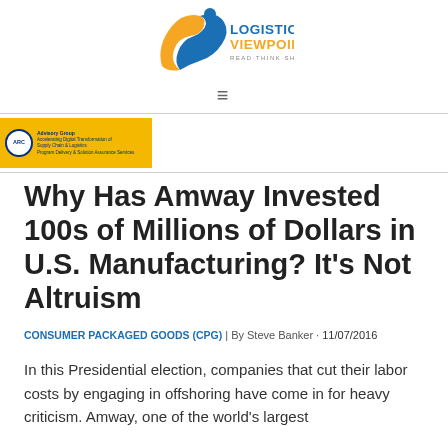Logistics Viewpoints — Read·Think·Share
[Figure (logo): Logistics Viewpoints logo with circular figure and blue/yellow text reading LOGISTICS VIEWPOINTS READ·THINK·SHARE]
[Figure (logo): ARC Advisory Group banner — yellow background with ARC circle logo and small text about digital transformation of supply chain & logistics]
Why Has Amway Invested 100s of Millions of Dollars in U.S. Manufacturing? It's Not Altruism
CONSUMER PACKAGED GOODS (CPG) | By Steve Banker · 11/07/2016
In this Presidential election, companies that cut their labor costs by engaging in offshoring have come in for heavy criticism. Amway, one of the world's largest